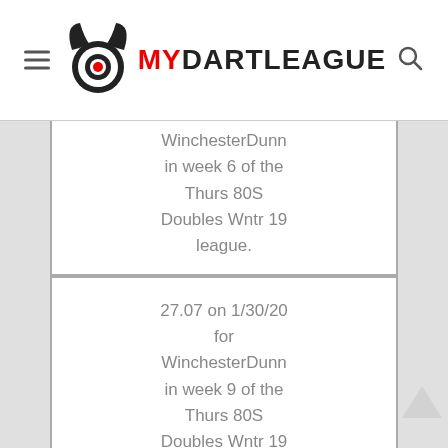MY DART LEAGUE
WinchesterDunn in week 6 of the Thurs 80S Doubles Wntr 19 league.
27.07 on 1/30/20 for WinchesterDunn in week 9 of the Thurs 80S Doubles Wntr 19 league.
25.85 on 11/6/2018 for